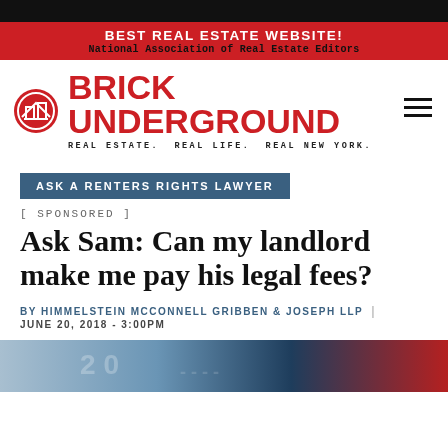BEST REAL ESTATE WEBSITE!
National Association of Real Estate Editors
[Figure (logo): Brick Underground logo with red circular city icon and red bold wordmark. Tagline: REAL ESTATE. REAL LIFE. REAL NEW YORK.]
ASK A RENTERS RIGHTS LAWYER
[ SPONSORED ]
Ask Sam: Can my landlord make me pay his legal fees?
BY HIMMELSTEIN MCCONNELL GRIBBEN & JOSEPH LLP | JUNE 20, 2018 - 3:00PM
[Figure (photo): Partial photo at bottom of page showing financial/legal document imagery in blue and red tones]